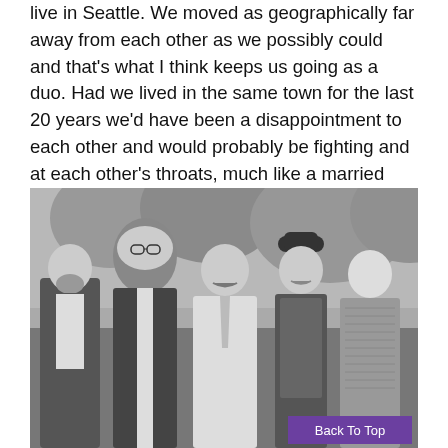live in Seattle. We moved as geographically far away from each other as we possibly could and that's what I think keeps us going as a duo. Had we lived in the same town for the last 20 years we'd have been a disappointment to each other and would probably be fighting and at each other's throats, much like a married couple. You need separation and you need your own space.
[Figure (photo): Black and white photograph of five men standing outdoors in front of trees, dressed in 1960s/70s style clothing including vests, a hat, and a cravat.]